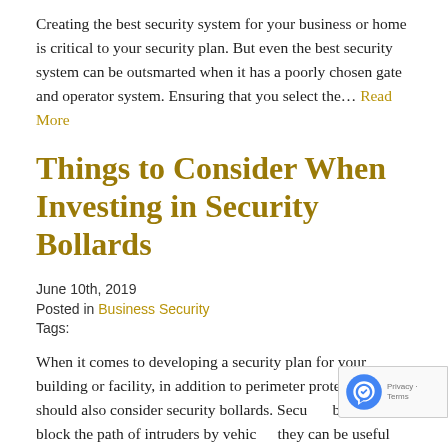Creating the best security system for your business or home is critical to your security plan. But even the best security system can be outsmarted when it has a poorly chosen gate and operator system. Ensuring that you select the… Read More
Things to Consider When Investing in Security Bollards
June 10th, 2019
Posted in Business Security
Tags:
When it comes to developing a security plan for your building or facility, in addition to perimeter protection you should also consider security bollards. Security bollards can block the path of intruders by vehicles they can be useful against… Read More